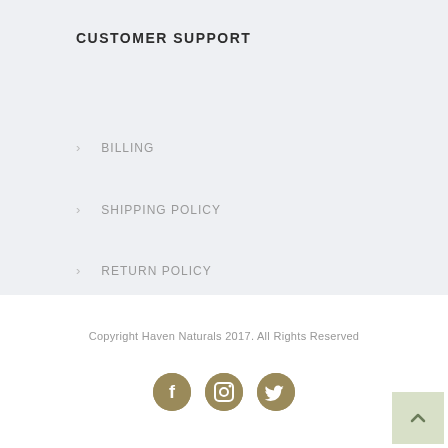CUSTOMER SUPPORT
BILLING
SHIPPING POLICY
RETURN POLICY
Copyright Haven Naturals 2017. All Rights Reserved
[Figure (other): Social media icons: Facebook, Instagram, Twitter — circular gold/tan colored buttons]
[Figure (other): Back to top button — light green square with upward chevron arrow]